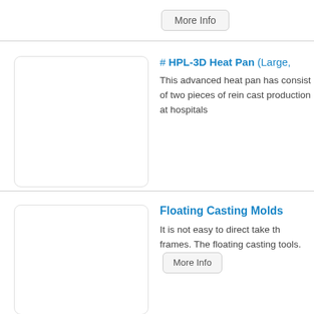More Info
[Figure (photo): Product image placeholder for HPL-3D Heat Pan (Large)]
# HPL-3D Heat Pan (Large,
This advanced heat pan has consist of two pieces of rein cast production at hospitals
[Figure (photo): Product image placeholder for Floating Casting Molds]
Floating Casting Molds
It is not easy to direct take th frames. The floating casting tools.
More Info